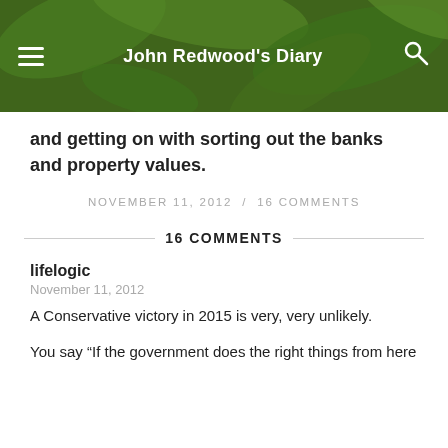John Redwood's Diary
and getting on with sorting out the banks and property values.
NOVEMBER 11, 2012  /  16 COMMENTS
16 COMMENTS
lifelogic
November 11, 2012
A Conservative victory in 2015 is very, very unlikely.
You say “If the government does the right things from here